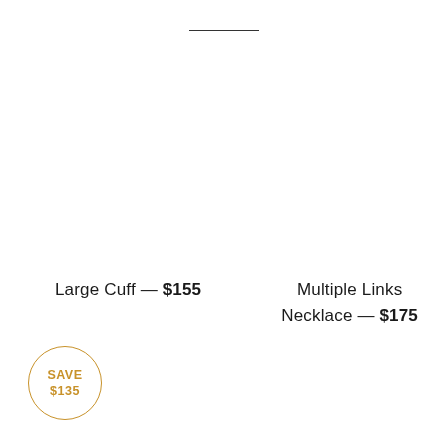Large Cuff — $155
Multiple Links Necklace — $175
SAVE $135